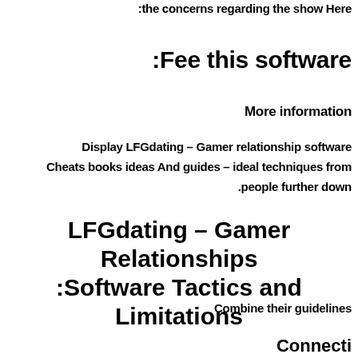:the concerns regarding the show Here
:Fee this software
More information
Display LFGdating – Gamer relationship software
Cheats books ideas And guides – ideal techniques from
.people further down
LFGdating – Gamer Relationships :Software Tactics and Limitations
Combine their guidelines
Connecti...